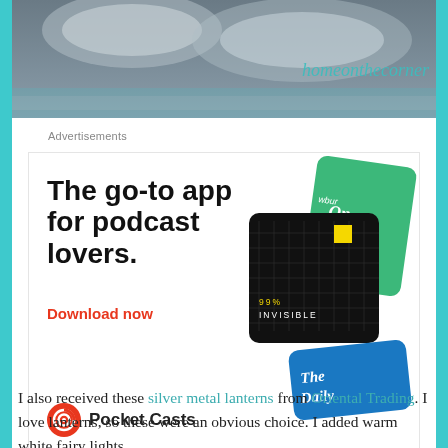[Figure (photo): Top banner image of silver decorative plates/dishes on a table, with cursive text 'homeonthecorner' in teal on the right side]
Advertisements
[Figure (screenshot): Advertisement for Pocket Casts app. Headline: 'The go-to app for podcast lovers.' with 'Download now' in red. Shows app screenshot cards including 99% Invisible and The Daily podcast artwork. Pocket Casts logo and name at bottom. 'REPORT THIS AD' link at bottom right.]
I also received these silver metal lanterns from Oriental Trading. I love lanterns, so these were an obvious choice. I added warm white fairy lights